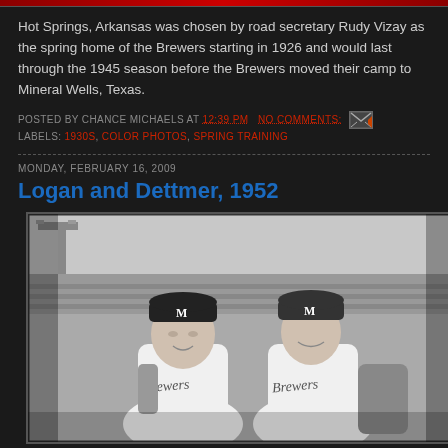Hot Springs, Arkansas was chosen by road secretary Rudy Vizay as the spring home of the Brewers starting in 1926 and would last through the 1945 season before the Brewers moved their camp to Mineral Wells, Texas.
POSTED BY CHANCE MICHAELS AT 12:39 PM   NO COMMENTS:
LABELS: 1930S, COLOR PHOTOS, SPRING TRAINING
MONDAY, FEBRUARY 16, 2009
Logan and Dettmer, 1952
[Figure (photo): Black and white photograph of two baseball players in Milwaukee Brewers uniforms, both wearing caps with 'M' logo, smiling at the camera. Stadium lights visible in background.]